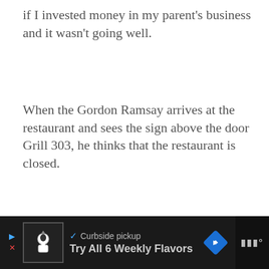if I invested money in my parent's business and it wasn't going well.
When the Gordon Ramsay arrives at the restaurant and sees the sign above the door Grill 303, he thinks that the restaurant is closed.
[Figure (other): Gray advertisement content area placeholder]
[Figure (other): Scroll to top button - gray square with upward arrow chevron]
[Figure (other): Advertisement banner at bottom: Curbside pickup / Try All 6 Weekly Flavors with restaurant icon and navigation diamond icon]